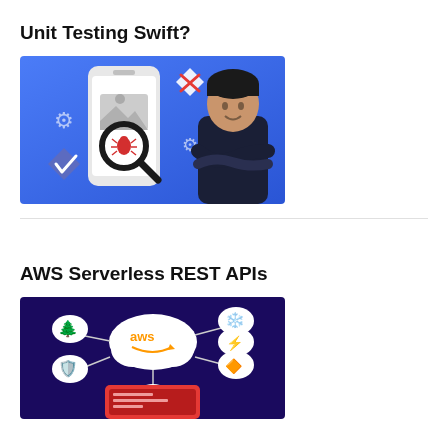Unit Testing Swift?
[Figure (illustration): Course thumbnail showing a smartphone with a magnifying glass highlighting a bug icon, check mark and X mark symbols, gear icons, and a smiling instructor with arms crossed, on a blue gradient background. Title: Unit Testing Swift.]
AWS Serverless REST APIs
[Figure (illustration): Course thumbnail showing an AWS cloud logo in the center connected to various AWS service icons (green tree, blue shield, orange streaming, red API gateway, blue cross, orange lightning) on a dark purple background with tablet device in the foreground.]